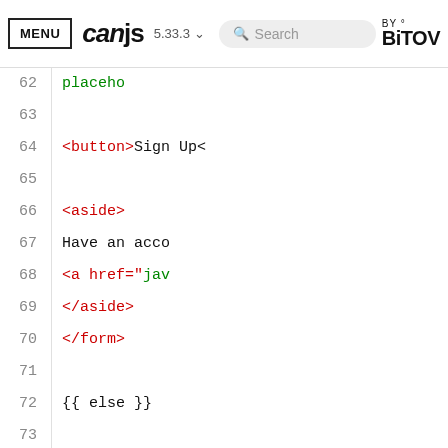MENU | canjs 5.33.3 | Search | BY BITOVI
[Figure (screenshot): Code editor screenshot showing HTML template lines 62-77 with syntax highlighting. Line 62: placeho (green), Line 63: empty, Line 64: <button>Sign Up< (red/black), Line 65: empty, Line 66: <aside> (red), Line 67: Have an acco (black), Line 68: <a href="jav (red/green), Line 69: </aside> (red), Line 70: </form> (red), Line 71: empty, Line 72: {{ else }} (black), Line 73: empty, Line 74: <form on:submit="thi (red/teal/green), Line 75: <h2>Log In</h2> (red/black), Line 76: empty, Line 77: <input placehold (red/green)]